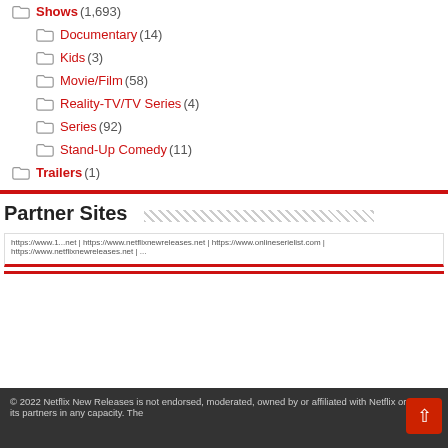Shows (1,693)
Documentary (14)
Kids (3)
Movie/Film (58)
Reality-TV/TV Series (4)
Series (92)
Stand-Up Comedy (11)
Trailers (1)
Partner Sites
https://www.1... | https://www.netflixnewreleases.net | https://www.onlineserielist.com | https://www.netflixnewreleases.net | ...
© 2022 Netflix New Releases is not endorsed, moderated, owned by or affiliated with Netflix or any of its partners in any capacity. The